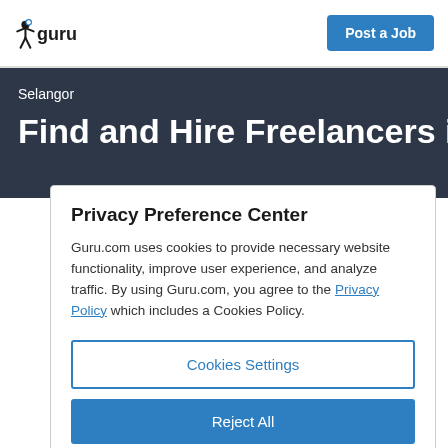guru | Post a Job
Selangor
Find and Hire Freelancers in Kuala
Privacy Preference Center
Guru.com uses cookies to provide necessary website functionality, improve user experience, and analyze traffic. By using Guru.com, you agree to the Privacy Policy which includes a Cookies Policy.
Cookies Settings
Reject All